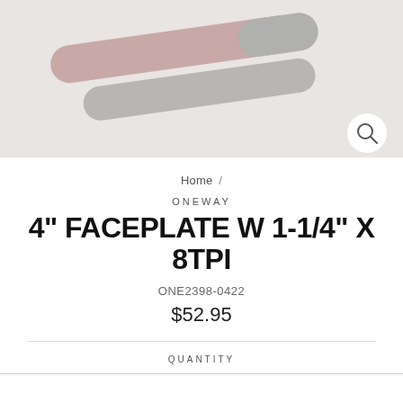[Figure (photo): Product photo on light gray background showing nail files or faceplate tools, with a magnifying glass search icon in the bottom-right corner.]
Home /
ONEWAY
4" FACEPLATE W 1-1/4" X 8TPI
ONE2398-0422
$52.95
QUANTITY
1